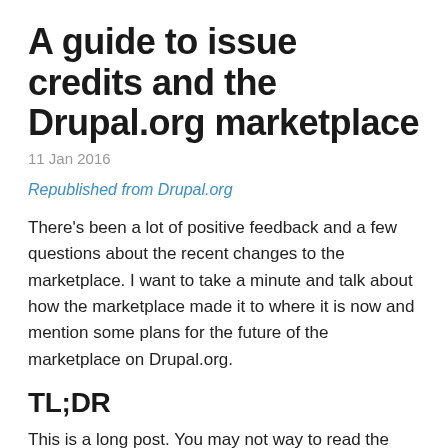A guide to issue credits and the Drupal.org marketplace
11 Jan 2016
Republished from Drupal.org
There's been a lot of positive feedback and a few questions about the recent changes to the marketplace. I want to take a minute and talk about how the marketplace made it to where it is now and mention some plans for the future of the marketplace on Drupal.org.
TL;DR
This is a long post. You may not way to read the whole thing, so here is a condensed version.
We want to highlight individuals and organizations that…